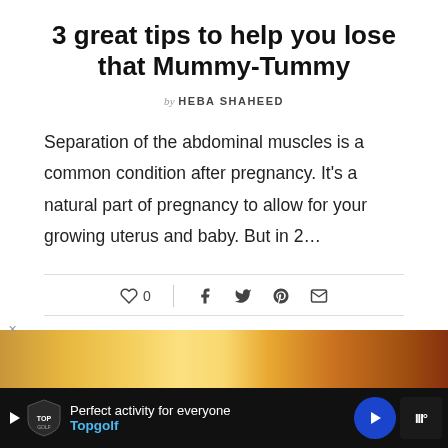3 great tips to help you lose that Mummy-Tummy
by HEBA SHAHEED
Separation of the abdominal muscles is a common condition after pregnancy. It's a natural part of pregnancy to allow for your growing uterus and baby. But in 2…
[Figure (screenshot): Social sharing bar with heart/like icon showing 0 likes, and share icons for Facebook, Twitter, Pinterest, and Email]
[Figure (photo): Partial warm-toned image at bottom of page, orange and golden hues]
[Figure (screenshot): Advertisement bar at bottom: Topgolf ad reading 'Perfect activity for everyone' with Topgolf logo, blue navigation arrow icon, and tally counter icon]